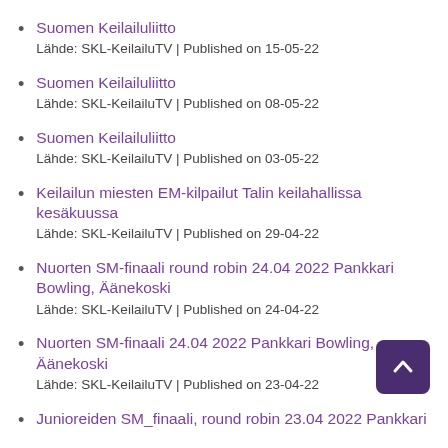Suomen Keilailuliitto
Lähde: SKL-KeilailuTV | Published on 15-05-22
Suomen Keilailuliitto
Lähde: SKL-KeilailuTV | Published on 08-05-22
Suomen Keilailuliitto
Lähde: SKL-KeilailuTV | Published on 03-05-22
Keilailun miesten EM-kilpailut Talin keilahallissa kesäkuussa
Lähde: SKL-KeilailuTV | Published on 29-04-22
Nuorten SM-finaali round robin 24.04 2022 Pankkari Bowling, Äänekoski
Lähde: SKL-KeilailuTV | Published on 24-04-22
Nuorten SM-finaali 24.04 2022 Pankkari Bowling, Äänekoski
Lähde: SKL-KeilailuTV | Published on 23-04-22
Junioreiden SM_finaali, round robin 23.04 2022 Pankkari